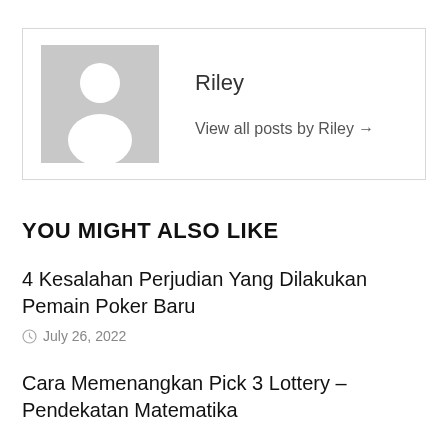[Figure (illustration): Default avatar placeholder image — grey square with white silhouette of a person (head and shoulders)]
Riley
View all posts by Riley →
YOU MIGHT ALSO LIKE
4 Kesalahan Perjudian Yang Dilakukan Pemain Poker Baru
July 26, 2022
Cara Memenangkan Pick 3 Lottery – Pendekatan Matematika